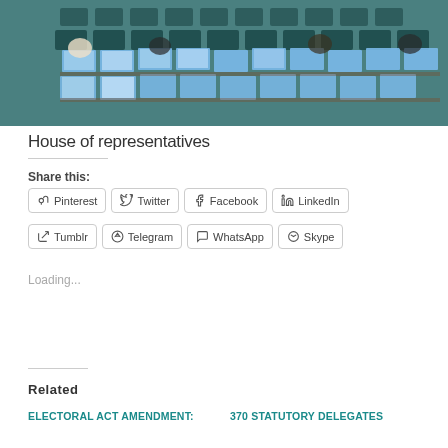[Figure (photo): Parliament chamber with rows of seats and laptops, legislators visible in the background]
House of representatives
Share this:
Pinterest  Twitter  Facebook  LinkedIn  Tumblr  Telegram  WhatsApp  Skype
Loading...
Related
ELECTORAL ACT AMENDMENT:
370 STATUTORY DELEGATES